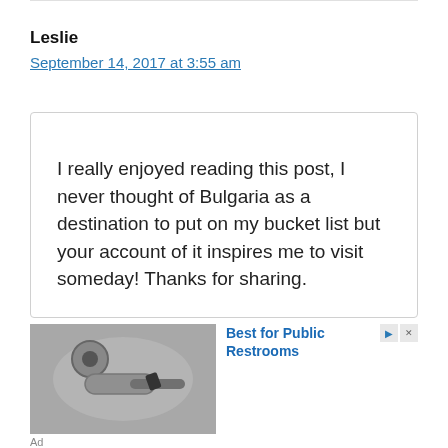Leslie
September 14, 2017 at 3:55 am
I really enjoyed reading this post, I never thought of Bulgaria as a destination to put on my bucket list but your account of it inspires me to visit someday! Thanks for sharing.
[Figure (photo): Advertisement image showing a metallic door handle or restroom fixture in close-up, grayscale tones]
Best for Public Restrooms
Ad